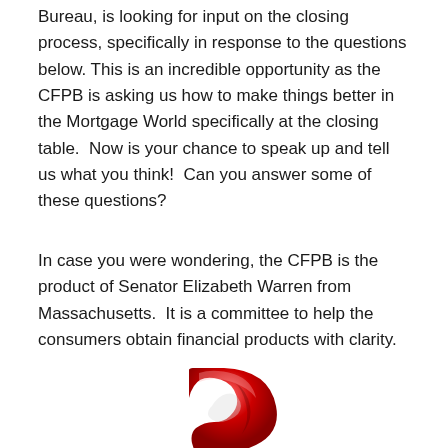Bureau, is looking for input on the closing process, specifically in response to the questions below. This is an incredible opportunity as the CFPB is asking us how to make things better in the Mortgage World specifically at the closing table.  Now is your chance to speak up and tell us what you think!  Can you answer some of these questions?
In case you were wondering, the CFPB is the product of Senator Elizabeth Warren from Massachusetts.  It is a committee to help the consumers obtain financial products with clarity.
[Figure (illustration): A large red 3D question mark symbol, shown from a slightly angled perspective, cropped at the bottom of the page.]